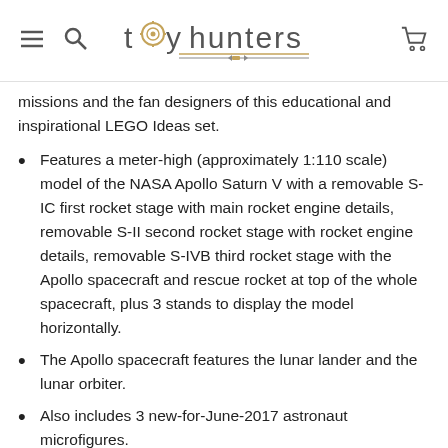toy hunters
missions and the fan designers of this educational and inspirational LEGO Ideas set.
Features a meter-high (approximately 1:110 scale) model of the NASA Apollo Saturn V with a removable S-IC first rocket stage with main rocket engine details, removable S-II second rocket stage with rocket engine details, removable S-IVB third rocket stage with the Apollo spacecraft and rescue rocket at top of the whole spacecraft, plus 3 stands to display the model horizontally.
The Apollo spacecraft features the lunar lander and the lunar orbiter.
Also includes 3 new-for-June-2017 astronaut microfigures.
Great for display and role-playing the manned Apollo Moon missions.
Includes a booklet about the manned Apollo Moon